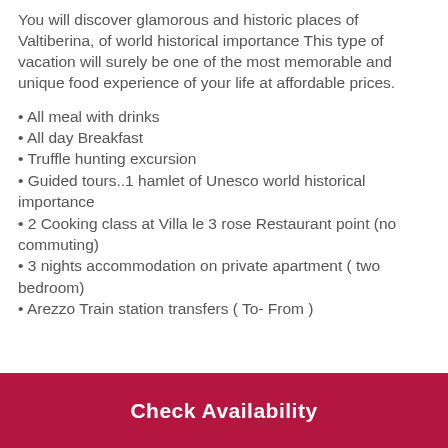You will discover glamorous and historic places of Valtiberina, of world historical importance This type of vacation will surely be one of the most memorable and unique food experience of your life at affordable prices.
• All meal with drinks
• All day Breakfast
• Truffle hunting excursion
• Guided tours..1 hamlet of Unesco world historical importance
• 2 Cooking class at Villa le 3 rose Restaurant point (no commuting)
• 3 nights accommodation on private apartment ( two bedroom)
• Arezzo Train station transfers ( To- From )
Check Availability